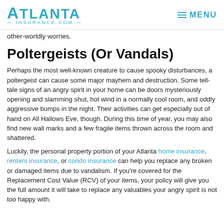ATLANTA INSURANCE.COM — MENU
other-worldly worries.
Poltergeists (Or Vandals)
Perhaps the most well-known creature to cause spooky disturbances, a poltergeist can cause some major mayhem and destruction. Some tell-tale signs of an angry spirit in your home can be doors mysteriously opening and slamming shut, hot wind in a normally cool room, and oddly aggressive bumps in the night. Their activities can get especially out of hand on All Hallows Eve, though. During this time of year, you may also find new wall marks and a few fragile items thrown across the room and shattered.
Luckily, the personal property portion of your Atlanta home insurance, renters insurance, or condo insurance can help you replace any broken or damaged items due to vandalism. If you're covered for the Replacement Cost Value (RCV) of your items, your policy will give you the full amount it will take to replace any valuables your angry spirit is not too happy with.